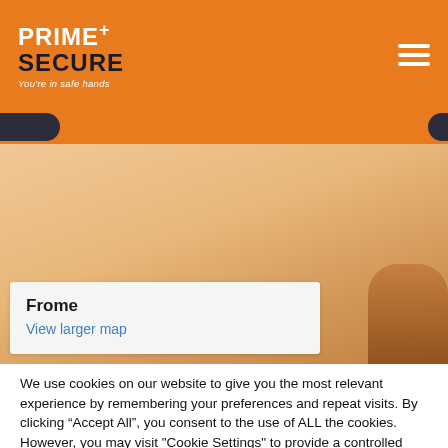[Figure (logo): Prime+ Secure logo — white and dark text on orange background with tagline 'You're in safe hands'. Hamburger menu icon on right.]
[Figure (screenshot): Google Maps screenshot showing Frome area with a white info box containing 'Frome' in bold and a 'View larger map' link in blue. An orange/brown decorative object visible on the right edge.]
We use cookies on our website to give you the most relevant experience by remembering your preferences and repeat visits. By clicking “Accept All”, you consent to the use of ALL the cookies. However, you may visit "Cookie Settings" to provide a controlled consent.
Cookie Settings
Accept All